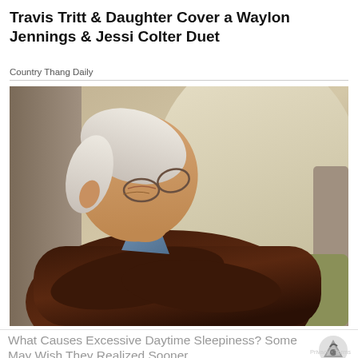Travis Tritt & Daughter Cover a Waylon Jennings & Jessi Colter Duet
Country Thang Daily
[Figure (photo): Elderly man with white hair and glasses sleeping in an armchair with arms crossed, wearing a dark cable-knit sweater over a plaid shirt]
What Causes Excessive Daytime Sleepiness? Some May Wish They Realized Sooner
Narcolepsy | Search Ads | Sponsored